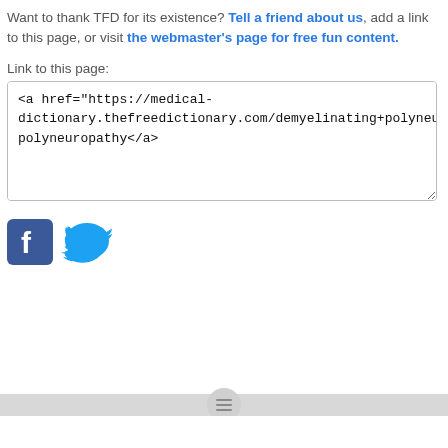Want to thank TFD for its existence? Tell a friend about us, add a link to this page, or visit the webmaster's page for free fun content.
Link to this page:
<a href="https://medical-dictionary.thefreedictionary.com/demyelinating+polyneuropathy">demyelinating polyneuropathy</a>
[Figure (logo): Facebook and Twitter social media icons]